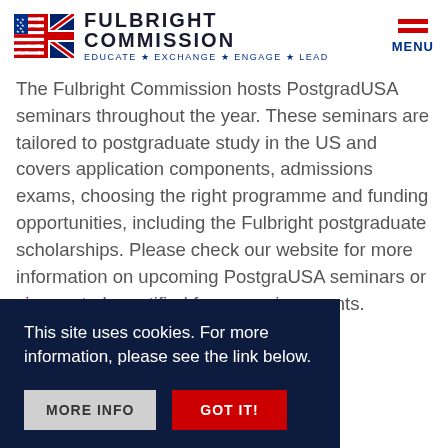[Figure (logo): Fulbright Commission logo with US and UK flag combined, text FULBRIGHT COMMISSION, tagline EDUCATE * EXCHANGE * ENGAGE * LEAD]
The Fulbright Commission hosts PostgradUSA seminars throughout the year. These seminars are tailored to postgraduate study in the US and covers application components, admissions exams, choosing the right programme and funding opportunities, including the Fulbright postgraduate scholarships. Please check our website for more information on upcoming PostgraUSA seminars or sign-up to be notified for upcoming events.
This site uses cookies. For more information, please see the link below.
MORE INFO
GOT IT!